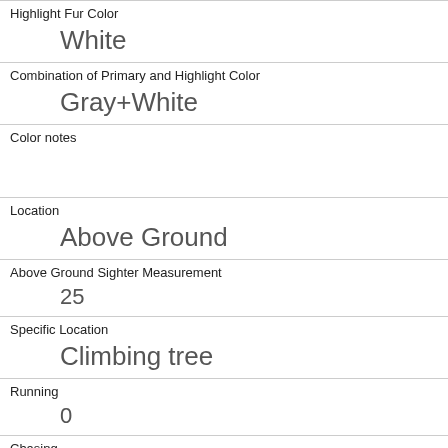| Highlight Fur Color | White |
| Combination of Primary and Highlight Color | Gray+White |
| Color notes |  |
| Location | Above Ground |
| Above Ground Sighter Measurement | 25 |
| Specific Location | Climbing tree |
| Running | 0 |
| Chasing | 0 |
| Climbing | 1 |
| Eating | 0 |